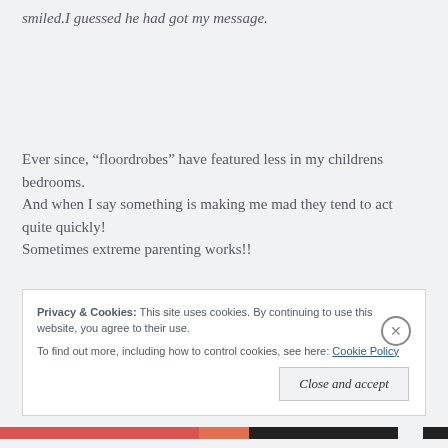smiled.I guessed he had got my message.
Ever since, “floordrobes” have featured less in my childrens bedrooms.
And when I say something is making me mad they tend to act quite quickly!
Sometimes extreme parenting works!!
Privacy & Cookies: This site uses cookies. By continuing to use this website, you agree to their use.
To find out more, including how to control cookies, see here: Cookie Policy
Close and accept